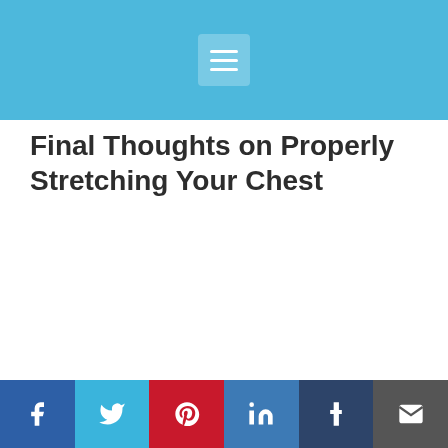Final Thoughts on Properly Stretching Your Chest
Remember to only stretch warm muscles
Social share bar: Facebook, Twitter, Pinterest, LinkedIn, Tumblr, Email